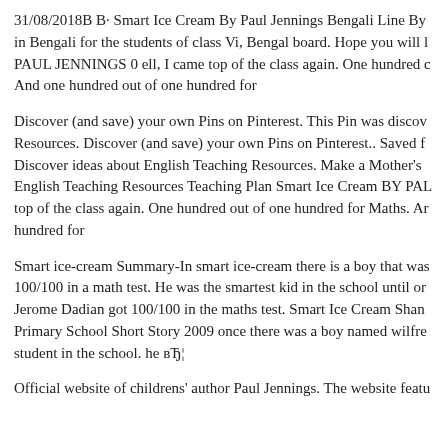31/08/2018B B· Smart Ice Cream By Paul Jennings Bengali Line By in Bengali for the students of class Vi, Bengal board. Hope you will l PAUL JENNINGS 0 ell, I came top of the class again. One hundred c And one hundred out of one hundred for
Discover (and save) your own Pins on Pinterest. This Pin was discov Resources. Discover (and save) your own Pins on Pinterest.. Saved f Discover ideas about English Teaching Resources. Make a Mother's English Teaching Resources Teaching Plan Smart Ice Cream BY PAL top of the class again. One hundred out of one hundred for Maths. Ar hundred for
Smart ice-cream Summary-In smart ice-cream there is a boy that was 100/100 in a math test. He was the smartest kid in the school until or Jerome Dadian got 100/100 in the maths test. Smart Ice Cream Shan Primary School Short Story 2009 once there was a boy named wilfre student in the school. he вЂ¦
Official website of childrens' author Paul Jennings. The website featu